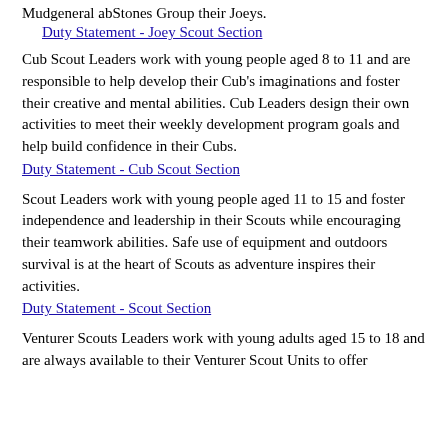Mud general about Stones Group their Joeys.
Duty Statement - Joey Scout Section
Cub Scout Leaders work with young people aged 8 to 11 and are responsible to help develop their Cub's imaginations and foster their creative and mental abilities. Cub Leaders design their own activities to meet their weekly development program goals and help build confidence in their Cubs.
Duty Statement - Cub Scout Section
Scout Leaders work with young people aged 11 to 15 and foster independence and leadership in their Scouts while encouraging their teamwork abilities. Safe use of equipment and outdoors survival is at the heart of Scouts as adventure inspires their activities.
Duty Statement - Scout Section
Venturer Scouts Leaders work with young adults aged 15 to 18 and are always available to their Venturer Scout Units to offer